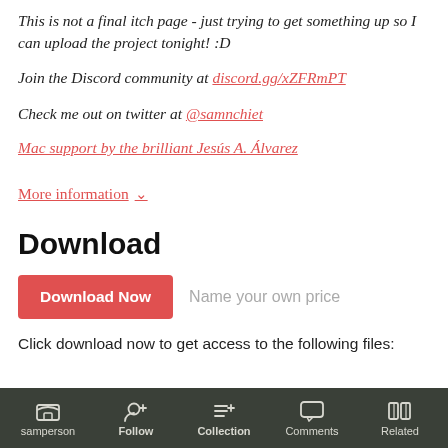This is not a final itch page - just trying to get something up so I can upload the project tonight! :D
Join the Discord community at discord.gg/xZFRmPT
Check me out on twitter at @samnchiet
Mac support by the brilliant Jesús A. Álvarez
More information ∨
Download
Download Now   Name your own price
Click download now to get access to the following files:
samperson   Follow   Collection   Comments   Related